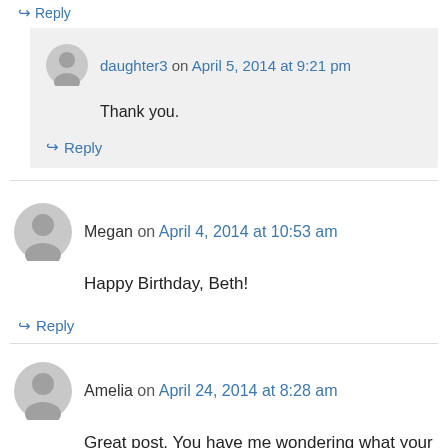↪ Reply
daughter3 on April 5, 2014 at 9:21 pm
Thank you.
↪ Reply
Megan on April 4, 2014 at 10:53 am
Happy Birthday, Beth!
↪ Reply
Amelia on April 24, 2014 at 8:28 am
Great post. You have me wondering what your